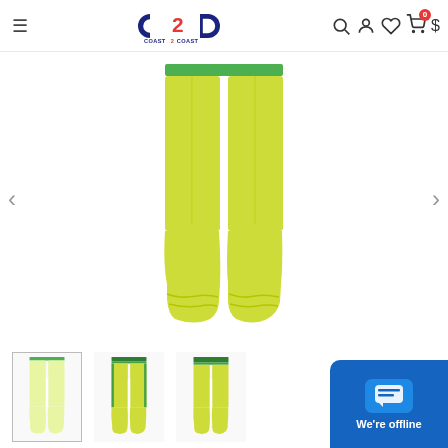[Figure (screenshot): Coast 2 Coast e-commerce website header/navbar with logo, menu icon, search, user, wishlist, cart (badge: 0), and currency icons]
[Figure (photo): Main product image: lime/yellow-green jogger sweatpants with green waistband and cuffed ankles, displayed on white background. Navigation arrows on left and right sides.]
[Figure (photo): Three product thumbnail images of the same lime green jogger pants from different angles: full front view, side view with green side stripe detail, and front view with green waistband detail visible.]
[Figure (screenshot): Blue chat widget in bottom-right corner with chat icon and 'We're offline' text.]